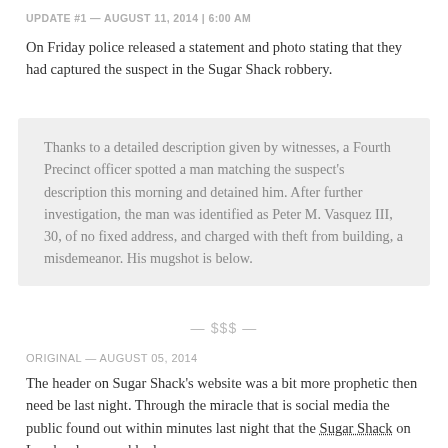UPDATE #1 — AUGUST 11, 2014 | 6:00 AM
On Friday police released a statement and photo stating that they had captured the suspect in the Sugar Shack robbery.
Thanks to a detailed description given by witnesses, a Fourth Precinct officer spotted a man matching the suspect's description this morning and detained him. After further investigation, the man was identified as Peter M. Vasquez III, 30, of no fixed address, and charged with theft from building, a misdemeanor. His mugshot is below.
— $$$ —
ORIGINAL — AUGUST 05, 2014
The header on Sugar Shack's website was a bit more prophetic then need be last night. Through the miracle that is social media the public found out within minutes last night that the Sugar Shack on Lombardy was robbed.